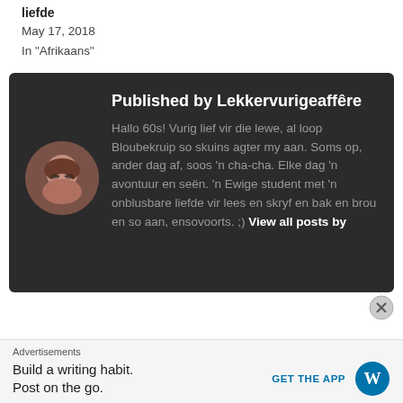liefde
May 17, 2018
In "Afrikaans"
[Figure (infographic): Dark card with author avatar (circular photo of a woman with glasses), published by section with title 'Published by Lekkervurigeaffêre' and bio text in Afrikaans]
Advertisements
Build a writing habit. Post on the go.
GET THE APP